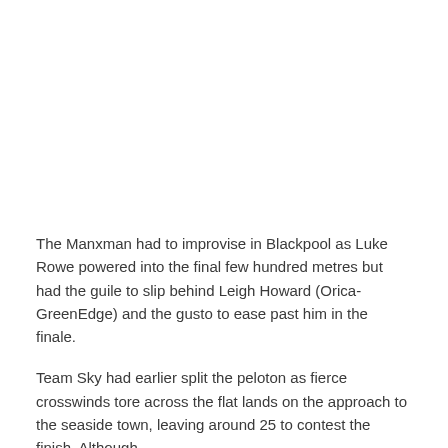The Manxman had to improvise in Blackpool as Luke Rowe powered into the final few hundred metres but had the guile to slip behind Leigh Howard (Orica-GreenEdge) and the gusto to ease past him in the finale.
Team Sky had earlier split the peloton as fierce crosswinds tore across the flat lands on the approach to the seaside town, leaving around 25 to contest the finish. Although